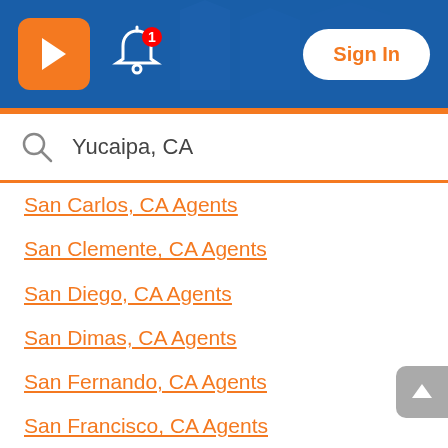[Figure (screenshot): Realtor.com mobile app header with orange R logo, bell notification icon with red badge showing '1', and Sign In button on blue background with house image]
Yucaipa, CA
San Carlos, CA Agents
San Clemente, CA Agents
San Diego, CA Agents
San Dimas, CA Agents
San Fernando, CA Agents
San Francisco, CA Agents
San Gabriel, CA Agents
San Jacinto, CA Agents
San Jose, CA Agents
San Juan Capistrano, CA Agents
San Leandro, CA Agents
San Lorenzo, CA Agents